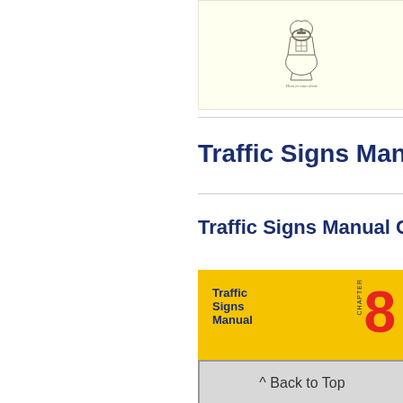[Figure (illustration): UK Royal coat of arms / crest on cream/ivory background]
Traffic Signs Manu
Traffic Signs Manual C
[Figure (photo): Cover of Traffic Signs Manual Chapter 8, yellow cover with blue text and large red number 8]
^ Back to Top